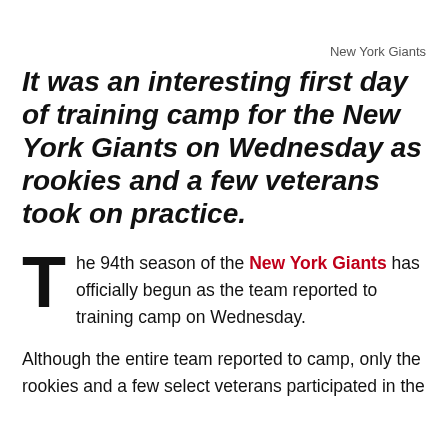New York Giants
It was an interesting first day of training camp for the New York Giants on Wednesday as rookies and a few veterans took on practice.
The 94th season of the New York Giants has officially begun as the team reported to training camp on Wednesday.
Although the entire team reported to camp, only the rookies and a few select veterans participated in the